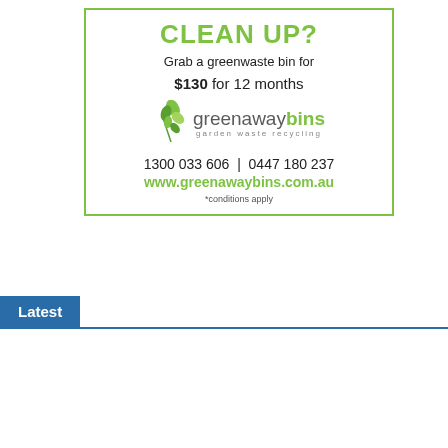[Figure (infographic): Greenaway Bins advertisement. Headline: CLEAN UP? Subtext: Grab a greenwaste bin for $130 for 12 months. Logo: greenawaybins garden waste recycling. Phone: 1300 033 606 | 0447 180 237. Website: www.greenawaybins.com.au. Footnote: *conditions apply. Green border around the ad.]
Latest